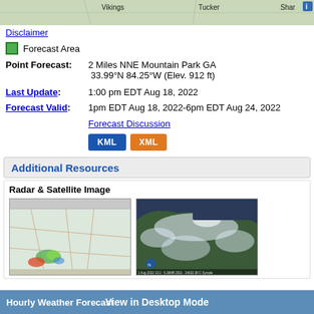[Figure (map): Map showing areas including Vikings, Tucker, and Shar labels at top]
Disclaimer
Forecast Area
Point Forecast:	2 Miles NNE Mountain Park GA
33.99°N 84.25°W (Elev. 912 ft)
Last Update: 1:00 pm EDT Aug 18, 2022
Forecast Valid: 1pm EDT Aug 18, 2022-6pm EDT Aug 24, 2022
Forecast Discussion
Additional Resources
Radar & Satellite Image
[Figure (map): Radar image showing weather over southeastern US]
[Figure (photo): Satellite image showing cloud cover over eastern US]
Hourly Weather Forecast